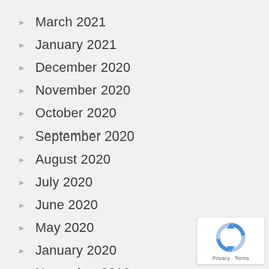March 2021
January 2021
December 2020
November 2020
October 2020
September 2020
August 2020
July 2020
June 2020
May 2020
January 2020
November 2019
[Figure (logo): reCAPTCHA badge with Privacy and Terms links]